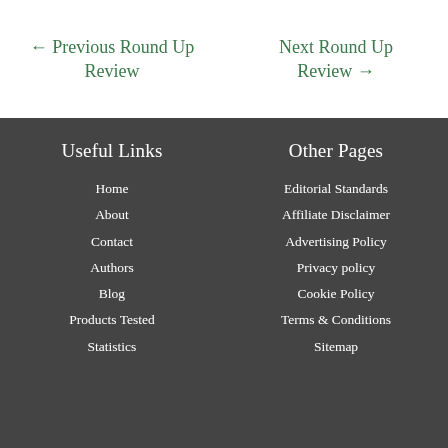← Previous Round Up Review
Next Round Up Review →
Useful Links
Other Pages
Home
About
Contact
Authors
Blog
Products Tested
Statistics
Editorial Standards
Affiliate Disclaimer
Advertising Policy
Privacy policy
Cookie Policy
Terms & Conditions
Sitemap
[Figure (illustration): Social media icons: Facebook, Instagram, YouTube]